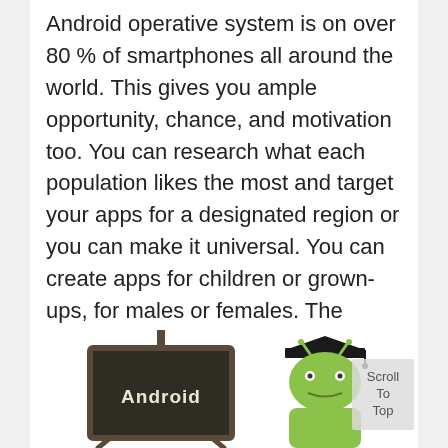Android operative system is on over 80 % of smartphones all around the world. This gives you ample opportunity, chance, and motivation too. You can research what each population likes the most and target your apps for a designated region or you can make it universal. You can create apps for children or grown-ups, for males or females. The options are millions. The world can be yours if you take advantage of this course and become an Android app developer as soon as possible.
[Figure (illustration): A chalkboard sign with the word 'Android' written in chalk, and an Android robot mascot figure wearing a graduation cap, displayed at the bottom of the page. A 'Scroll To Top' button is visible in the bottom right corner.]